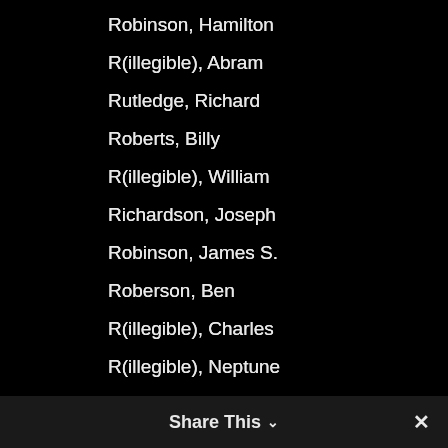Robinson, Hamilton
R(illegible), Abram
Rutledge, Richard
Roberts, Billy
R(illegible), William
Richardson, Joseph
Robinson, James S.
Roberson, Ben
R(illegible), Charles
R(illegible), Neptune
R(illegible), Bill
Rivers, Richard
Share This  ✓  ✕